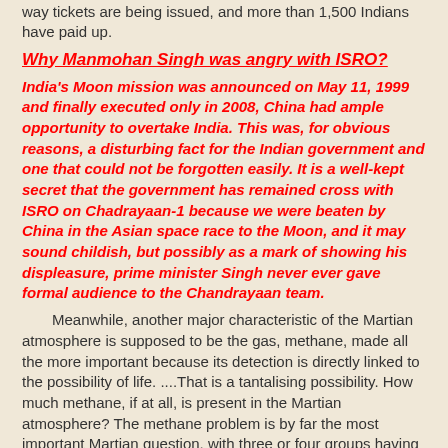way tickets are being issued, and more than 1,500 Indians have paid up.
Why Manmohan Singh was angry with ISRO?
India's Moon mission was announced on May 11, 1999 and finally executed only in 2008, China had ample opportunity to overtake India. This was, for obvious reasons, a disturbing fact for the Indian government and one that could not be forgotten easily. It is a well-kept secret that the government has remained cross with ISRO on Chadrayaan-1 because we were beaten by China in the Asian space race to the Moon, and it may sound childish, but possibly as a mark of showing his displeasure, prime minister Singh never ever gave formal audience to the Chandrayaan team.
Meanwhile, another major characteristic of the Martian atmosphere is supposed to be the gas, methane, made all the more important because its detection is directly linked to the possibility of life. ....That is a tantalising possibility. How much methane, if at all, is present in the Martian atmosphere? The methane problem is by far the most important Martian question, with three or four groups having